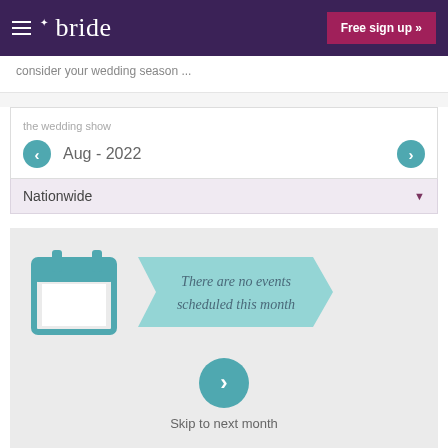bride | Free sign up »
consider your wedding season ...
the wedding show
Aug - 2022
Nationwide
[Figure (infographic): A banner ribbon graphic with calendar icon and italic text reading 'There are no events scheduled this month']
Skip to next month
view all shows & events